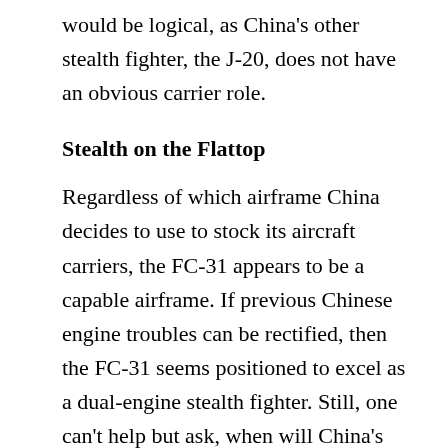would be logical, as China's other stealth fighter, the J-20, does not have an obvious carrier role.
Stealth on the Flattop
Regardless of which airframe China decides to use to stock its aircraft carriers, the FC-31 appears to be a capable airframe. If previous Chinese engine troubles can be rectified, then the FC-31 seems positioned to excel as a dual-engine stealth fighter. Still, one can't help but ask, when will China's fighter designs be completely domestic, rather than based on stolen, copied tech?
Caleb Larson is a Defense Writer with The